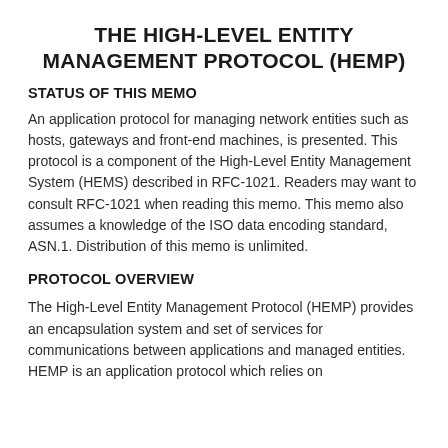THE HIGH-LEVEL ENTITY MANAGEMENT PROTOCOL (HEMP)
STATUS OF THIS MEMO
An application protocol for managing network entities such as hosts, gateways and front-end machines, is presented. This protocol is a component of the High-Level Entity Management System (HEMS) described in RFC-1021. Readers may want to consult RFC-1021 when reading this memo. This memo also assumes a knowledge of the ISO data encoding standard, ASN.1. Distribution of this memo is unlimited.
PROTOCOL OVERVIEW
The High-Level Entity Management Protocol (HEMP) provides an encapsulation system and set of services for communications between applications and managed entities. HEMP is an application protocol which relies on